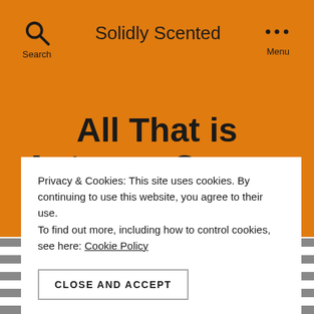Solidly Scented
All That is Autumn: Copper + Copper Mr. Lucky
Both festive and a little bit mysterious...
Privacy & Cookies: This site uses cookies. By continuing to use this website, you agree to their use. To find out more, including how to control cookies, see here: Cookie Policy
CLOSE AND ACCEPT